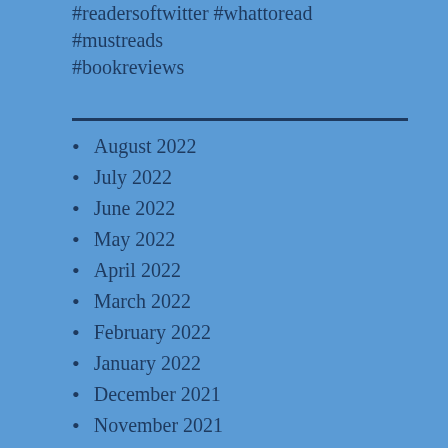#readersoftwitter #whattoread #mustreads #bookreviews
August 2022
July 2022
June 2022
May 2022
April 2022
March 2022
February 2022
January 2022
December 2021
November 2021
October 2021